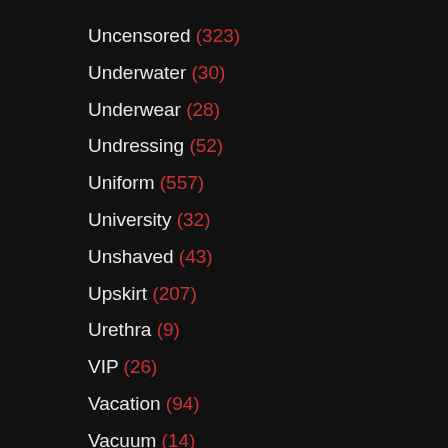Uncensored (323)
Underwater (30)
Underwear (28)
Undressing (52)
Uniform (557)
University (32)
Unshaved (43)
Upskirt (207)
Urethra (9)
VIP (26)
Vacation (94)
Vacuum (14)
Vampire (14)
Van (98)
Vegetable (51)